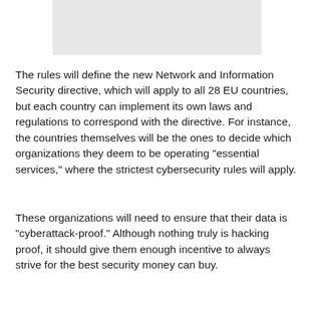[Figure (other): Gray rectangular image placeholder at the top of the page]
The rules will define the new Network and Information Security directive, which will apply to all 28 EU countries, but each country can implement its own laws and regulations to correspond with the directive. For instance, the countries themselves will be the ones to decide which organizations they deem to be operating "essential services," where the strictest cybersecurity rules will apply.
These organizations will need to ensure that their data is "cyberattack-proof." Although nothing truly is hacking proof, it should give them enough incentive to always strive for the best security money can buy.